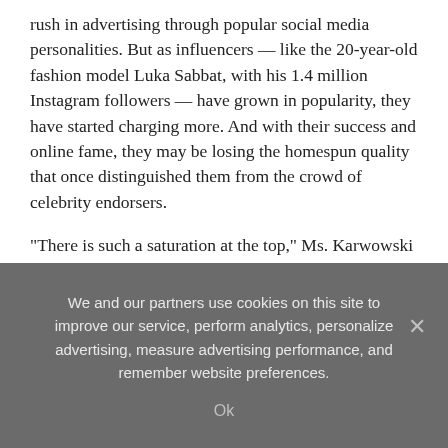rush in advertising through popular social media personalities. But as influencers — like the 20-year-old fashion model Luka Sabbat, with his 1.4 million Instagram followers — have grown in popularity, they have started charging more. And with their success and online fame, they may be losing the homespun quality that once distinguished them from the crowd of celebrity endorsers.
“There is such a saturation at the top,” Ms. Karwowski said. “We’ve seen a real push to work with smaller and smaller influencers, because their engagement is so high and we have the technology to work with a lot more influencers now and track and measure what is and isn’t working.”
The influencer economy is opaque — and rife with questionable tactics — but there’s no doubt it attracts big money. A reminder of that came recently when a public relations firm sued Mr. Sabbat, saying he failed to fulfill the terms of an agreement with
We and our partners use cookies on this site to improve our service, perform analytics, personalize advertising, measure advertising performance, and remember website preferences.
Ok